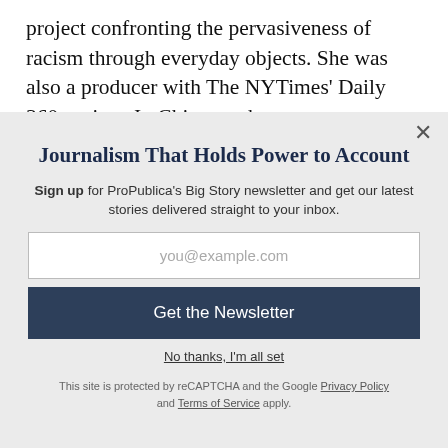project confronting the pervasiveness of racism through everyday objects. She was also a producer with The NYTimes' Daily 360 project. In Chicago, she was a
Journalism That Holds Power to Account
Sign up for ProPublica's Big Story newsletter and get our latest stories delivered straight to your inbox.
you@example.com
Get the Newsletter
No thanks, I'm all set
This site is protected by reCAPTCHA and the Google Privacy Policy and Terms of Service apply.